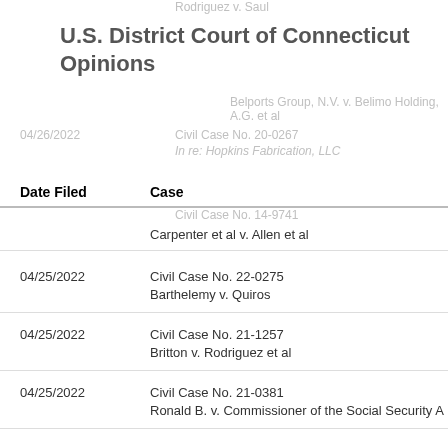U.S. District Court of Connecticut Opinions
| Date Filed | Case |
| --- | --- |
|  | Carpenter et al v. Allen et al |
| 04/25/2022 | Civil Case No. 22-0275
Barthelemy v. Quiros |
| 04/25/2022 | Civil Case No. 21-1257
Britton v. Rodriguez et al |
| 04/25/2022 | Civil Case No. 21-0381
Ronald B. v. Commissioner of the Social Security A |
| 04/25/2022 | Civil Case No. 20-1540
Trevor H. v. Saul |
| 04/25/2022 | Civil Case No. 20-0071
Fraser v. Caribe |
| 04/22/2022 | Civil Case No. 21-0420 |